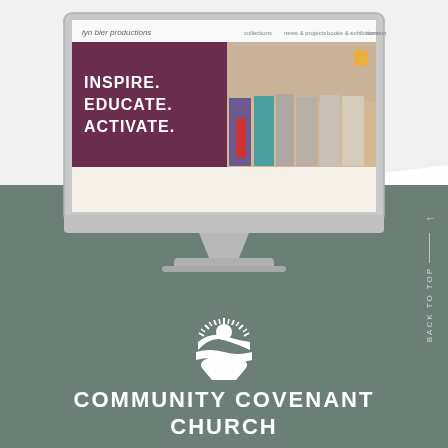[Figure (screenshot): Desktop computer monitor mockup showing a website with purple/maroon background and text INSPIRE. EDUCATE. ACTIVATE. on the left side, and a photo of exhibition boards/displays on the right. Navigation bar at top reads 'lyn bier productions' with menu items.]
[Figure (logo): Community Covenant Church logo: white circular emblem with sun rays, landscape/horizon scene, and stylized figure. Text below reads COMMUNITY COVENANT CHURCH in white bold uppercase letters on sage green background.]
BACK TO TOP ↑